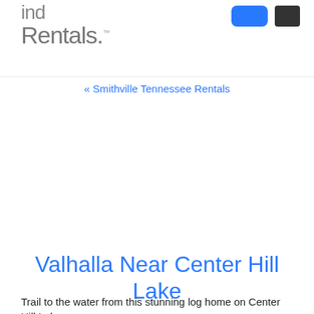Find Rentals
« Smithville Tennessee Rentals
Valhalla Near Center Hill Lake
Trail to the water from this stunning log home on Center Hill Lake.